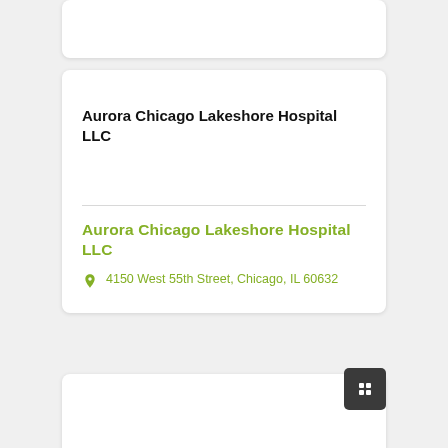Aurora Chicago Lakeshore Hospital LLC
Aurora Chicago Lakeshore Hospital LLC
4150 West 55th Street, Chicago, IL 60632
Aurora Chicago Lakeshore Hospital LLC